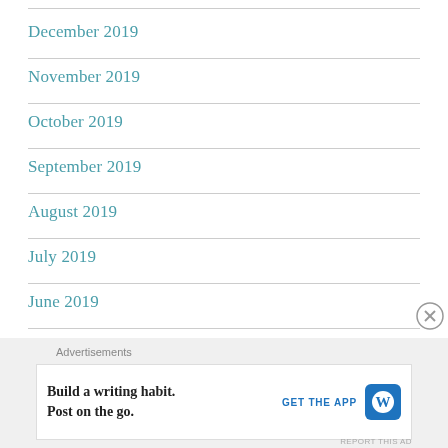December 2019
November 2019
October 2019
September 2019
August 2019
July 2019
June 2019
May 2019
Advertisements
Build a writing habit. Post on the go.
GET THE APP